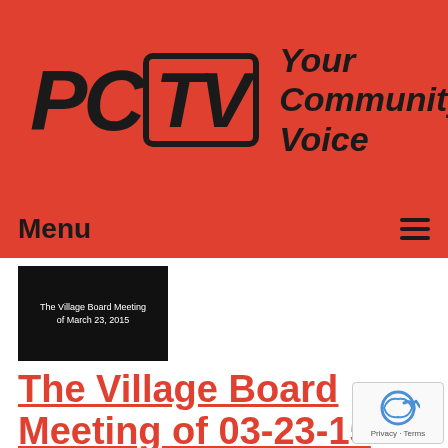[Figure (logo): PCTV logo with stylized letters PC and TV in a rounded box, with tagline 'Your Community Voice' on red background]
Menu
[Figure (screenshot): Thumbnail image showing dark background with white text 'The Village Board Meeting of March 23, 2015']
The Village Board Meeting of 03-23-15
Airdate: 03/23/2015
Watched: 18 times